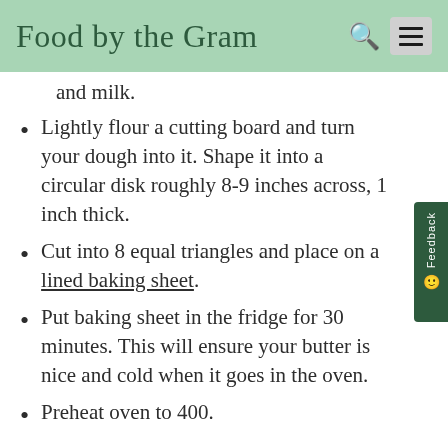Food by the Gram
and milk.
Lightly flour a cutting board and turn your dough into it. Shape it into a circular disk roughly 8-9 inches across, 1 inch thick.
Cut into 8 equal triangles and place on a lined baking sheet.
Put baking sheet in the fridge for 30 minutes. This will ensure your butter is nice and cold when it goes in the oven.
Preheat oven to 400.
Brush tops of scones with milk. You can sprinkle some coarse sugar if you plan to skip the glaze.